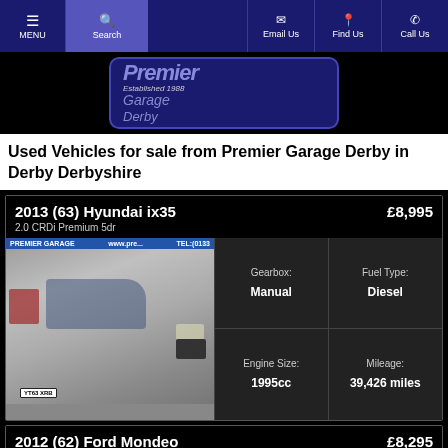[Figure (screenshot): Navigation bar with MENU, Search, Email Us, Find Us, Call Us buttons on dark navy background]
[Figure (logo): Premier Garage Derby logo, Established 1988, on dark navy background with decorative border]
Used Vehicles for sale from Premier Garage Derby in Derby Derbyshire
2013 (63) Hyundai ix35 — £8,995 — 2.0 CRDi Premium 5dr
[Figure (photo): Grey Hyundai ix35 parked outside Premier Garage with registration YT63 XRB]
| Gearbox: | Fuel Type: | Engine Size: | Mileage: |
| --- | --- | --- | --- |
| Manual | Diesel | 1995cc | 39,426 miles |
2012 (62) Ford Mondeo — £8,295